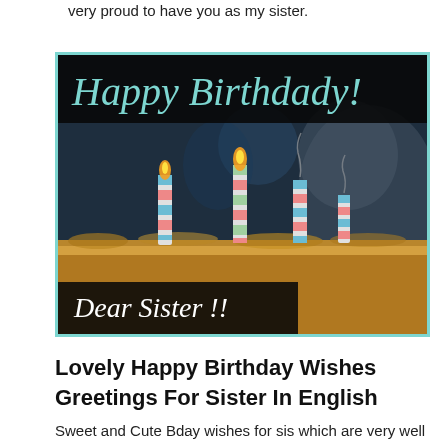very proud to have you as my sister.
[Figure (photo): Birthday card image showing a cake with lit candles. Top black banner reads 'Happy Birthdady!' in teal cursive script. Bottom left black banner reads 'Dear Sister !!' in white cursive script. The card has a teal/cyan border.]
Lovely Happy Birthday Wishes Greetings For Sister In English
Sweet and Cute Bday wishes for sis which are very well